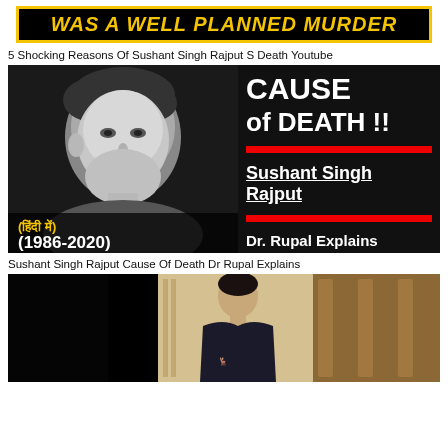[Figure (infographic): Black background banner with yellow border and yellow italic bold text reading 'WAS A WELL PLANNED MURDER']
5 Shocking Reasons Of Sushant Singh Rajput S Death Youtube
[Figure (infographic): Thumbnail split into two halves: left side shows black and white photo of Sushant Singh Rajput with Hindi text (हिंदी में) in yellow and (1986-2020) in white at the bottom; right side has black background with white bold text 'CAUSE of DEATH !!', red bars, underlined white bold text 'Sushant Singh Rajput', and white text 'Dr. Rupal Explains']
Sushant Singh Rajput Cause Of Death Dr Rupal Explains
[Figure (photo): Partial thumbnail showing a person in a dark t-shirt against a decorative background, image is cut off at the bottom]